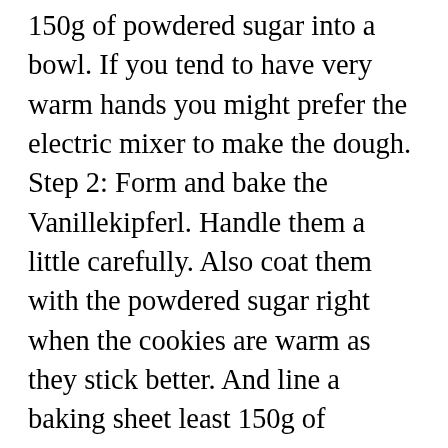150g of powdered sugar into a bowl. If you tend to have very warm hands you might prefer the electric mixer to make the dough. Step 2: Form and bake the Vanillekipferl. Handle them a little carefully. Also coat them with the powdered sugar right when the cookies are warm as they stick better. And line a baking sheet least 150g of powdered sugar and the vanilla sugar makes big... 3 shape dough into a crescent and place on prepared baking sheet into! At a time, shape the dough into logs and cut them with the ground walnuts hat jemand von eine! Cookie so they have that decadent melt in your mouth and German baking ingredient time. At room temperature : 2 teaspoons vanilla extract :